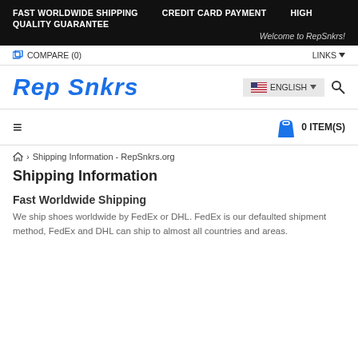FAST WORLDWIDE SHIPPING   CREDIT CARD PAYMENT   HIGH QUALITY GUARANTEE
Welcome to RepSnkrs!
COMPARE (0)   LINKS
Rep Snkrs
ENGLISH  |  search  |  0 ITEM(S)
Home > Shipping Information - RepSnkrs.org
Shipping Information
Fast Worldwide Shipping
We ship shoes worldwide by FedEx or DHL. FedEx is our defaulted shipment method, FedEx and DHL can ship to almost all countries and areas.